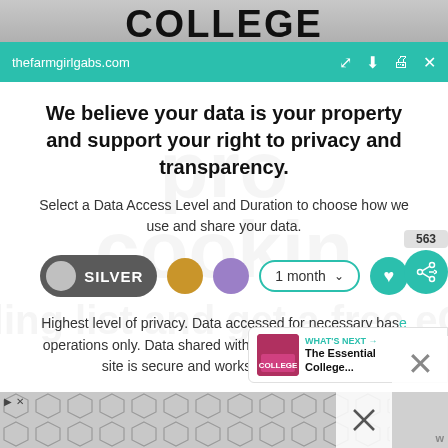[Figure (screenshot): Top strip showing partial text 'COLLEGE' in large bold black letters on a gray background]
thefarmgirlgabs.com
We believe your data is your property and support your right to privacy and transparency.
Select a Data Access Level and Duration to choose how we use and share your data.
[Figure (infographic): Controls row: SILVER toggle button (dark gray with light circle), gold dot, purple dot, 1 month dropdown, teal heart button]
Highest level of privacy. Data accessed for necessary basic operations only. Data shared with 3rd parties to ensure the site is secure and works on your device
[Figure (screenshot): What's Next panel showing thumbnail image and text 'The Essential College...']
Save my preferences
[Figure (illustration): Bottom advertisement strip with geometric hexagonal pattern in gray tones and close X button]